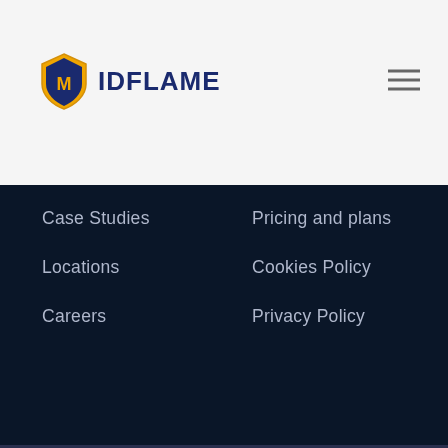[Figure (logo): MidFlame logo with shield icon and text IDFLAME]
Case Studies
Locations
Careers
Pricing and plans
Cookies Policy
Privacy Policy
Copyright © 2020 MidFlame Private Limited | All Rights Reserved
[Figure (infographic): Social media icons: Facebook, Twitter, Instagram, LinkedIn]